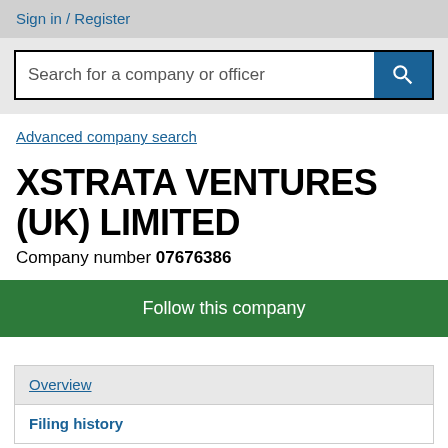Sign in / Register
Search for a company or officer
Advanced company search
XSTRATA VENTURES (UK) LIMITED
Company number 07676386
Follow this company
Overview
Filing history